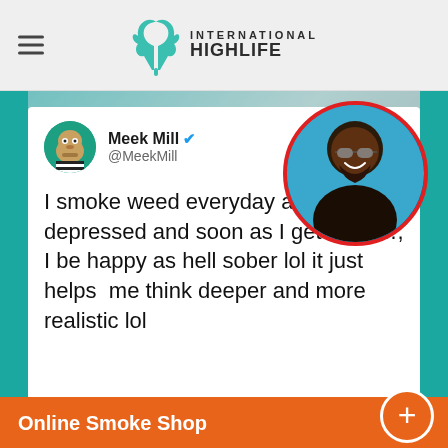INTERNATIONAL HIGHLIFE
[Figure (screenshot): Screenshot of a tweet by Meek Mill (@MeekMill) with a Bored Ape NFT profile picture and verified checkmark, overlaid with a photo of Meek Mill wearing sunglasses with a red circular border. Tweet text: I smoke weed everyday and get depressed and soon as I get high …, I be happy as hell sober lol it just helps me think deeper and more realistic lol]
Online Smoke Shop